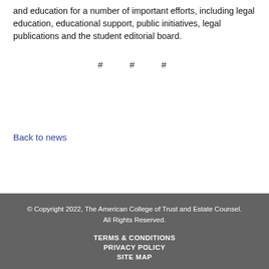and education for a number of important efforts, including legal education, educational support, public initiatives, legal publications and the student editorial board.
# # #
Back to news
© Copyright 2022, The American College of Trust and Estate Counsel. All Rights Reserved.
TERMS & CONDITIONS
PRIVACY POLICY
SITE MAP